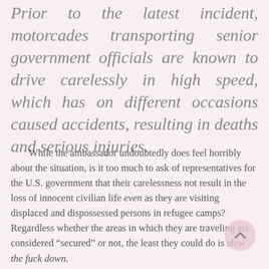Prior to the latest incident, motorcades transporting senior government officials are known to drive carelessly in high speed, which has on different occasions caused accidents, resulting in deaths and serious injuries.
While the ambassador undoubtedly does feel horribly about the situation, is it too much to ask of representatives for the U.S. government that their carelessness not result in the loss of innocent civilian life even as they are visiting displaced and dispossessed persons in refugee camps? Regardless whether the areas in which they are traveling are considered “secured” or not, the least they could do is slow the fuck down.